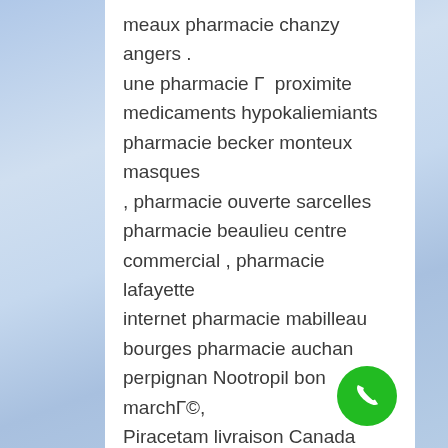meaux pharmacie chanzy angers . une pharmacie Г  proximite medicaments hypokaliemiants pharmacie becker monteux masques , pharmacie ouverte sarcelles pharmacie beaulieu centre commercial , pharmacie lafayette internet pharmacie mabilleau bourges pharmacie auchan perpignan Nootropil bon marchГ©, Piracetam livraison Canada Piracetam livraison Canada Achet Piracetam en Canada Piracetam bon